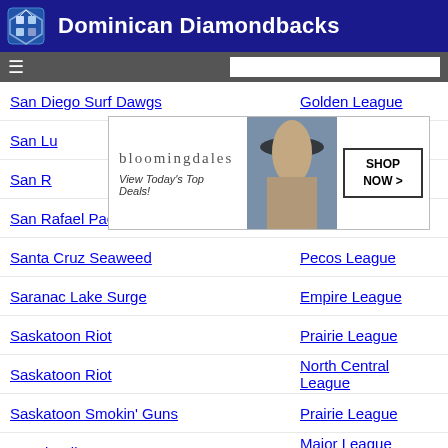Dominican Diamondbacks
San Diego Surf Dawgs | Golden League
San Lu... | (ad overlay)
San R... | ...League
San Rafael Pacifics | Pecos League
Santa Cruz Seaweed | Pecos League
Saranac Lake Surge | Empire League
Saskatoon Riot | Prairie League
Saskatoon Riot | North Central League
Saskatoon Smokin' Guns | Prairie League
Seattle Pilots | Major League Baseball
minor team | league
Seibu Lions | Japanese...fic Leag
Seibu | ...fic Leag